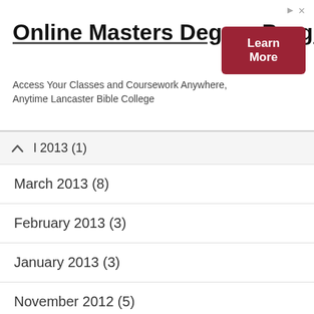[Figure (other): Advertisement banner for Online Masters Degree Programs at Lancaster Bible College with a Learn More button]
l 2013 (1)
March 2013 (8)
February 2013 (3)
January 2013 (3)
November 2012 (5)
October 2012 (1)
September 2012 (3)
July 2012 (2)
June 2012 (2)